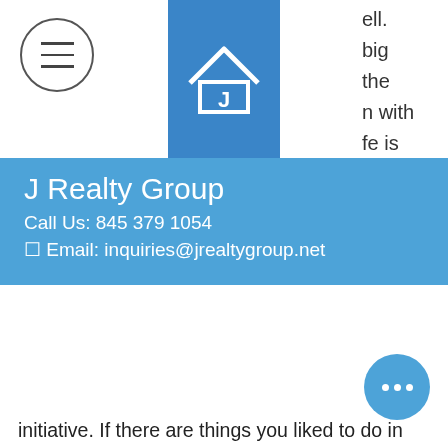[Figure (logo): J Realty Group logo — blue square with white house outline and letter J]
ell.
big
the
n with
fe is
e
J Realty Group
Call Us: 845 379 1054
✉ Email: inquiries@jrealtygroup.net
initiative. If there are things you liked to do in your town, find ways to do those things in the city. Try new things. Volunteer. Big cities offer so many opportunities to engage other people, so find what you like.
Mind your wallet. City life is expensive. Everything costs more: food, insurance, clothes, rent. There are also a lot more ways to get ripped off, whether legally or criminally. Be careful how you spend,